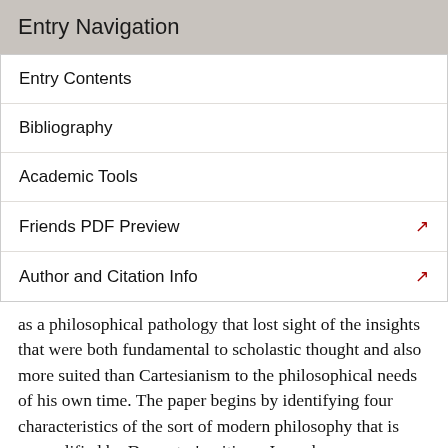Entry Navigation
Entry Contents
Bibliography
Academic Tools
Friends PDF Preview
Author and Citation Info
as a philosophical pathology that lost sight of the insights that were both fundamental to scholastic thought and also more suited than Cartesianism to the philosophical needs of his own time. The paper begins by identifying four characteristics of the sort of modern philosophy that is exemplified by Descartes' writings. In each case, Descartes self-consciously made a break with the scholastic tradition, and, in each case, the outlook that he rejected turns out to be the outlook of the successful sciences and to provide the perspective required for contemporary philosophy. The first, and most important,